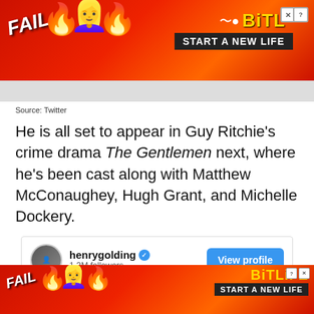[Figure (screenshot): Advertisement banner for BitLife game with 'FAIL' text and 'START A NEW LIFE' slogan on red/orange background]
Source: Twitter
He is all set to appear in Guy Ritchie's crime drama The Gentlemen next, where he's been cast along with Matthew McConaughey, Hugh Grant, and Michelle Dockery.
[Figure (screenshot): Instagram embed card showing henrygolding account with 1.3M followers, View profile button, and photo of sky with clouds]
[Figure (screenshot): Advertisement banner for BitLife game with 'FAIL' text and 'START A NEW LIFE' slogan on red/orange background at bottom of page]